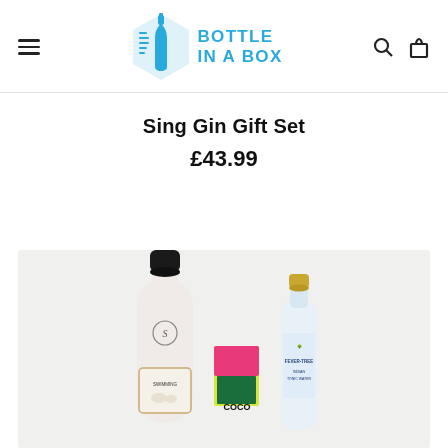Bottle In A Box — navigation header with hamburger menu, logo, search and cart icons
Sing Gin Gift Set
£43.99
[Figure (photo): Product photo showing a Sing Gin bottle (Swimming Cows gin) with a black wax-dipped top, a colorful Coco chocolate box, and a Fever-Tree tonic water bottle, arranged on a light grey background.]